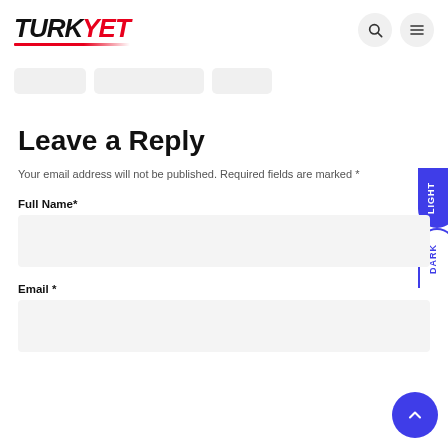TURKYET
Leave a Reply
Your email address will not be published. Required fields are marked *
Full Name*
Email *